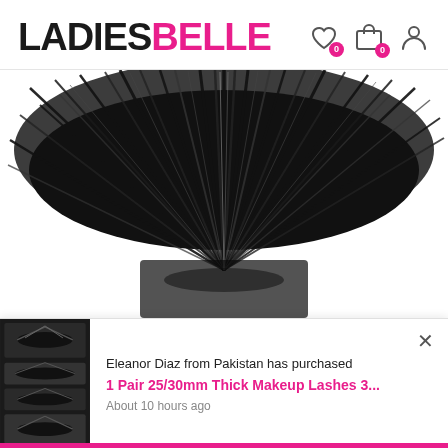LADIESBELLE
[Figure (photo): Close-up product photo of dramatic long black fluffy false eyelashes fanned out against a white background, viewed from below showing the lash fan shape.]
Eleanor Diaz from Pakistan has purchased
1 Pair 25/30mm Thick Makeup Lashes 3...
About 10 hours ago